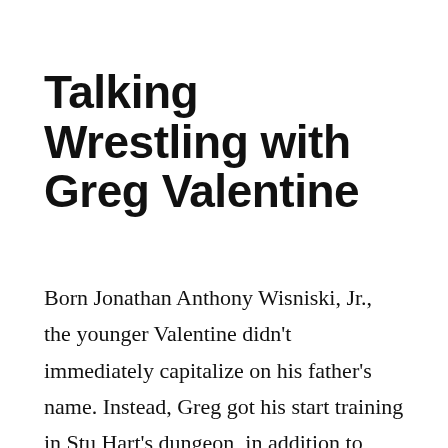Talking Wrestling with Greg Valentine
Born Jonathan Anthony Wisniski, Jr., the younger Valentine didn't immediately capitalize on his father's name. Instead, Greg got his start training in Stu Hart's dungeon, in addition to timely advice from his father.